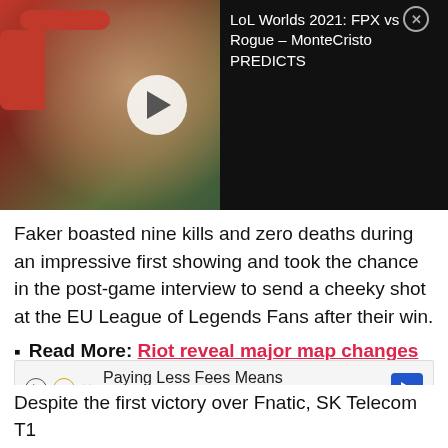[Figure (screenshot): Video thumbnail showing a man wearing red headphones with a play button overlay, beside a dark panel with text 'LoL Worlds 2021: FPX vs Rogue - MonteCristo PREDICTS' and a close button]
Faker boasted nine kills and zero deaths during an impressive first showing and took the chance in the post-game interview to send a cheeky shot at the EU League of Legends Fans after their win.
Read More: Riot reveal major map changes to League of Legends for Season 10
“Hello EU fans, I am back,” he simply replied, after beating Fnatic in the best-of-1 match, giving viewers a glimpse of what to expect from him in the coming weeks
[Figure (other): Advertisement banner: 'Paying Less Fees Means More Crypto In Your Wallet!' with icons and blue arrow button]
Despite the first victory over Fnatic, SK Telecom T1